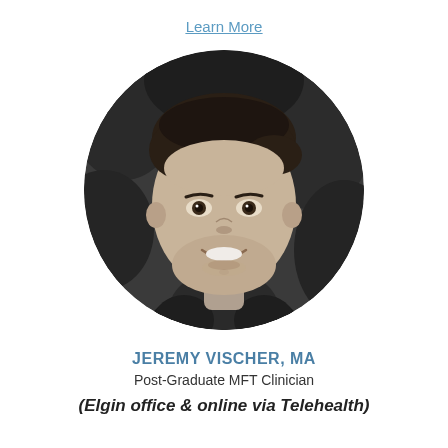Learn More
[Figure (photo): Black and white circular headshot photo of Jeremy Vischer, a young man smiling, wearing a dark textured shirt, with blurred outdoor background]
JEREMY VISCHER, MA
Post-Graduate MFT Clinician
(Elgin office & online via Telehealth)